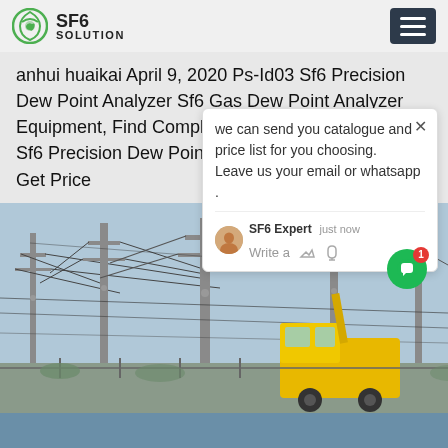SF6 SOLUTION
anhui huaikai April 9, 2020 Ps-Id03 Sf6 Precision Dew Point Analyzer Sf6 Gas Dew Point Analyzer Equipment, Find Complete Details about Ps-Id03 Sf6 Precision Dew Point Analyzer S...
Get Price
we can send you catalogue and price list for you choosing.
Leave us your email or whatsapp .
[Figure (screenshot): Chat popup widget showing SF6 Expert agent with message input area]
[Figure (photo): Electrical substation with high-voltage transmission lines and a yellow service vehicle]